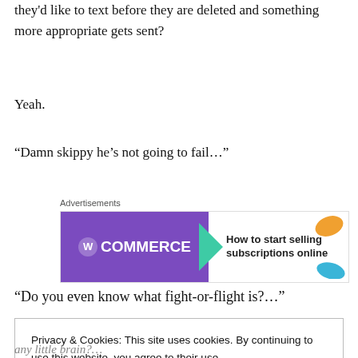they'd like to text before they are deleted and something more appropriate gets sent?
Yeah.
“Damn skippy he’s not going to fail…”
[Figure (other): WooCommerce advertisement banner: 'How to start selling subscriptions online']
“Do you even know what fight-or-flight is?…”
Privacy & Cookies: This site uses cookies. By continuing to use this website, you agree to their use. To find out more, including how to control cookies, see here: Cookie Policy
any little brain?…